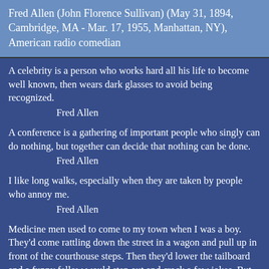Fred Allen (John Florence Sullivan) (May 31, 1894, Cambridge, MA - Mar. 17, 1955, Manhattan, NY), American radio comedian
A celebrity is a person who works hard all his life to become well known, then wears dark glasses to avoid being recognized.
        Fred Allen
A conference is a gathering of important people who singly can do nothing, but together can decide that nothing can be done.
        Fred Allen
I like long walks, especially when they are taken by people who annoy me.
        Fred Allen
Medicine men used to come to my town when I was a boy. They'd come rattling down the street in a wagon and pull up in front of the courthouse steps. Then they'd lower the tailboard and a funny fellow would step out and crack a few jokes. But as soon as the crowd of gaping yokels had gathered, the wit would launch into his sales pitch for Mother Bloater's elixir. Television is a tailboard lowered into the